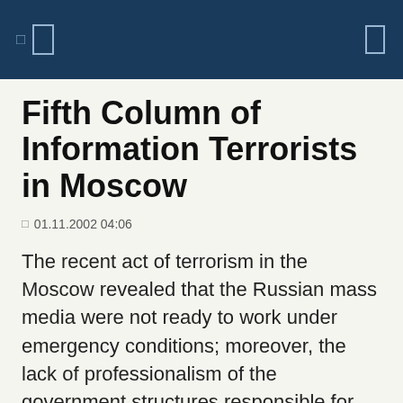Fifth Column of Information Terrorists in Moscow
01.11.2002 04:06
The recent act of terrorism in the Moscow revealed that the Russian mass media were not ready to work under emergency conditions; moreover, the lack of professionalism of the government structures responsible for the mass media was completely confirmed. This problem has been topical for the past several